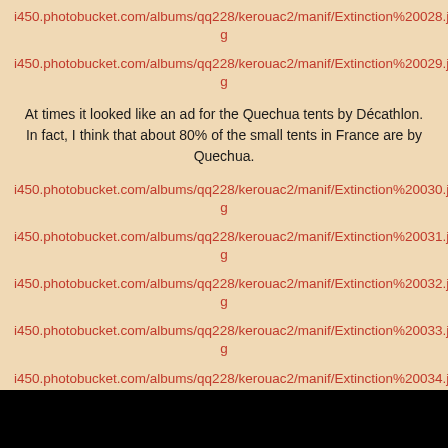i450.photobucket.com/albums/qq228/kerouac2/manif/Extinction%20028.jpg
i450.photobucket.com/albums/qq228/kerouac2/manif/Extinction%20029.jpg
At times it looked like an ad for the Quechua tents by Décathlon. In fact, I think that about 80% of the small tents in France are by Quechua.
i450.photobucket.com/albums/qq228/kerouac2/manif/Extinction%20030.jpg
i450.photobucket.com/albums/qq228/kerouac2/manif/Extinction%20031.jpg
i450.photobucket.com/albums/qq228/kerouac2/manif/Extinction%20032.jpg
i450.photobucket.com/albums/qq228/kerouac2/manif/Extinction%20033.jpg
i450.photobucket.com/albums/qq228/kerouac2/manif/Extinction%20034.jpg